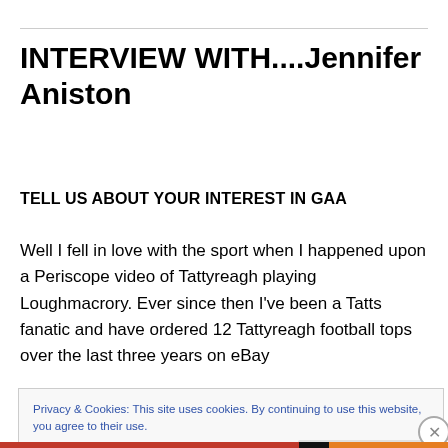INTERVIEW WITH....Jennifer Aniston
TELL US ABOUT YOUR INTEREST IN GAA
Well I fell in love with the sport when I happened upon a Periscope video of Tattyreagh playing Loughmacrory. Ever since then I've been a Tatts fanatic and have ordered 12 Tattyreagh football tops over the last three years on eBay
Privacy & Cookies: This site uses cookies. By continuing to use this website, you agree to their use.
To find out more, including how to control cookies, see here: Cookie Policy
Close and accept